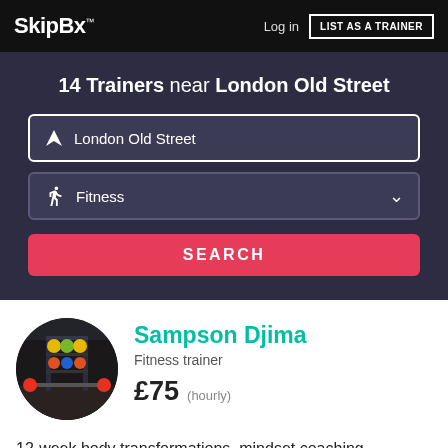SkipBx™  Log in  LIST AS A TRAINER
14 Trainers near London Old Street
London Old Street
Fitness
SEARCH
[Figure (photo): Circular profile photo showing a gym interior with weight rack and colorful weights]
Sampson Djima
Fitness trainer
£75 (hourly)
12-week body transformations, mindset coaching, nutritional guidance
7 other specialties